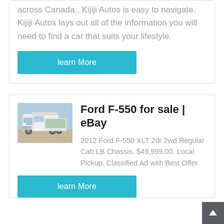across Canada.. Kijiji Autos is easy to navigate. Kijiji Autos lays out all of the information you will need to find a car that suits your lifestyle.
learn More
[Figure (photo): White semi truck / tractor cab photographed outdoors in a dusty area.]
Ford F-550 for sale | eBay
2012 Ford F-550 XLT 2dr 2wd Regular Cab LB Chassis. $49,999.00. Local Pickup. Classified Ad with Best Offer.
learn More